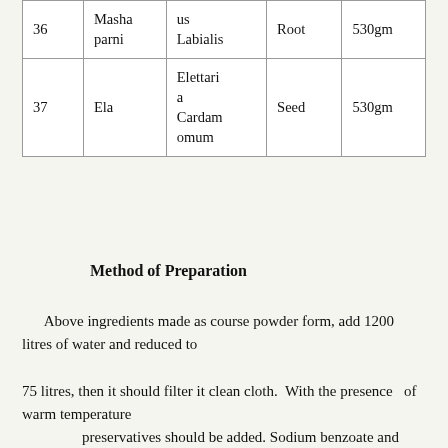|  |  |  |  |  |
| --- | --- | --- | --- | --- |
| 36 | Masha parni | us Labialis | Root | 530gm |
| 37 | Ela | Elettaria Cardamomum | Seed | 530gm |
Method of Preparation
Above ingredients made as course powder form, add 1200 litres of water and reduced to 75 litres, then it should filter it clean cloth.  With the presence  of warm temperature               preservatives should be added. Sodium benzoate and prophyl parathene should be added